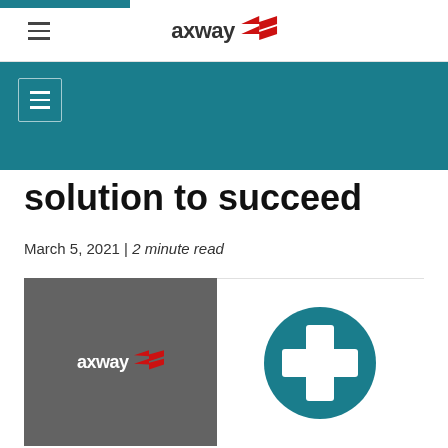axway [logo with navigation]
[Figure (screenshot): Teal navigation bar with hamburger menu icon]
solution to succeed
March 5, 2021 | 2 minute read
[Figure (illustration): Split image: left half shows Axway logo on dark gray background; right half shows a white plus sign inside a teal circle on white background]